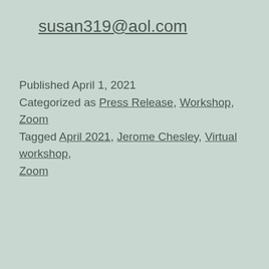susan319@aol.com
Published April 1, 2021
Categorized as Press Release, Workshop, Zoom
Tagged April 2021, Jerome Chesley, Virtual workshop, Zoom